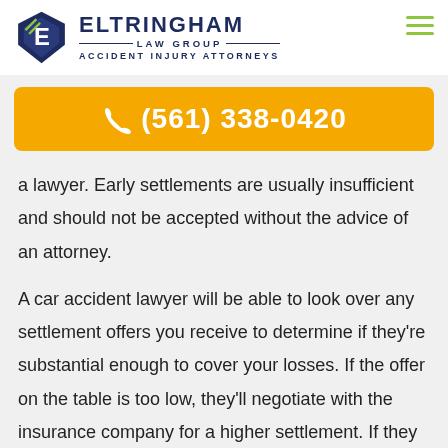Eltringham Law Group — Accident Injury Attorneys | (561) 338-0420
a lawyer. Early settlements are usually insufficient and should not be accepted without the advice of an attorney.
A car accident lawyer will be able to look over any settlement offers you receive to determine if they're substantial enough to cover your losses. If the offer on the table is too low, they'll negotiate with the insurance company for a higher settlement. If they refuse to pay the